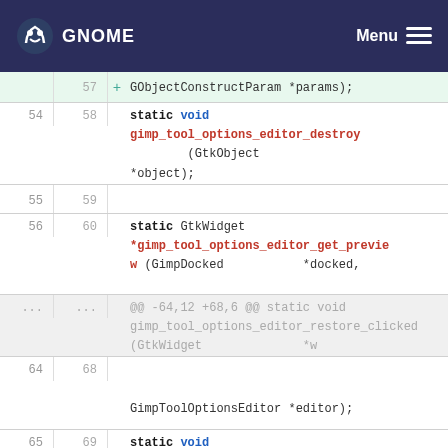GNOME  Menu
[Figure (screenshot): Code diff view showing C source code with line numbers. Highlighted added line (57) with '+' marker showing 'GObjectConstructParam *params);'. Lines 54/58 show 'static void gimp_tool_options_editor_destroy (GtkObject *object);'. Lines 55/59 empty. Lines 56/60 show 'static GtkWidget *gimp_tool_options_editor_get_preview (GimpDocked *docked,'. Context hunk marker '... ...' with '@@ -64,12 +68,6 @@ static void gimp_tool_options_editor_restore_clicked (GtkWidget *w'. Lines 64/68 empty with 'GimpToolOptionsEditor *editor);'. Lines 65/69 show 'static void gimp_tool_options_editor_delete_clicked (GtkWidget *widget,']